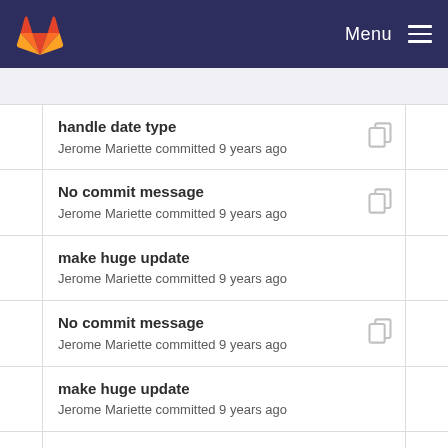Menu
handle date type
Jerome Mariette committed 9 years ago
No commit message
Jerome Mariette committed 9 years ago
make huge update
Jerome Mariette committed 9 years ago
No commit message
Jerome Mariette committed 9 years ago
make huge update
Jerome Mariette committed 9 years ago
No commit message
Jerome Mariette committed 9 years ago
make huge update